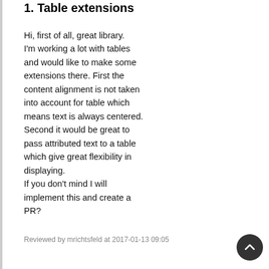1. Table extensions
Hi, first of all, great library. I'm working a lot with tables and would like to make some extensions there. First the content alignment is not taken into account for table which means text is always centered. Second it would be great to pass attributed text to a table which give great flexibility in displaying.
If you don't mind I will implement this and create a PR?
Reviewed by mrichtsfeld at 2017-01-13 09:05